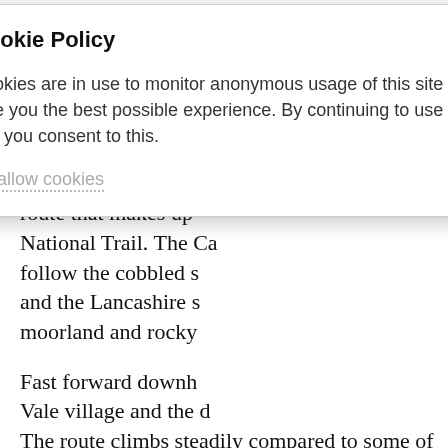natural peat. This section when firm under the knobbly tyres offers some of the best natural and flat single track in the area, covering over 5km the narrow path will keep you guessing.
Prior to the section a healthy slice of the M route that makes up National Trail. The Ca follow the cobbled s and the Lancashire s moorland and rocky
Fast forward downh Vale village and the d The route climbs steadily compared to some of the
[Figure (screenshot): Cookie Policy modal dialog overlay. Title: 'Cookie Policy'. Body text: 'Cookies are in use to monitor anonymous usage of this site and give you the best possible experience. By continuing to use the site you consent to this.' Link: 'Disallow cookies'. Close button (X) in top-right corner.]